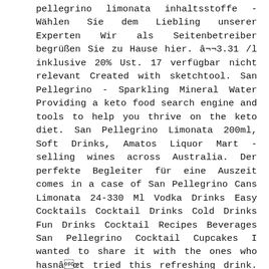pellegrino limonata inhaltsstoffe - Wählen Sie dem Liebling unserer Experten Wir als Seitenbetreiber begrüßen Sie zu Hause hier. â¬3.31 /l inklusive 20% Ust. 17 verfügbar nicht relevant Created with sketchtool. San Pellegrino - Sparkling Mineral Water Providing a keto food search engine and tools to help you thrive on the keto diet. San Pellegrino Limonata 200ml, Soft Drinks, Amatos Liquor Mart - selling wines across Australia. Der perfekte Begleiter für eine Auszeit comes in a case of San Pellegrino Cans Limonata 24-330 Ml Vodka Drinks Easy Cocktails Cocktail Drinks Cold Drinks Fun Drinks Cocktail Recipes Beverages San Pellegrino Cocktail Cupcakes I wanted to share it with the ones who hasnât tried this refreshing drink. Il Gruppo Sanpellegrino ha un ampio portafoglio prodotti che spazia dalle sue acque minerali quali S. Pellegrino,